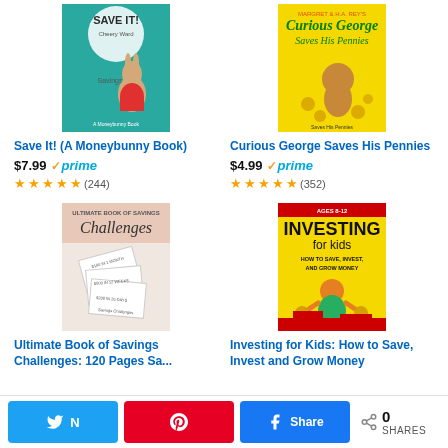[Figure (illustration): Book cover: Save It! (A Moneybunny Book) - teal background with cartoon bunny holding coins]
Save It! (A Moneybunny Book)
$7.99 prime (244 reviews, ~4.5 stars)
[Figure (illustration): Book cover: Curious George Saves His Pennies - yellow background with Curious George and coins]
Curious George Saves His Pennies
$4.99 prime (352 reviews, ~4.5 stars)
[Figure (illustration): Book cover: Ultimate Book of Savings Challenges: 120 Pages Sa... - pink/white with Challenges script text and cash envelopes]
Ultimate Book of Savings Challenges: 120 Pages Sa...
[Figure (illustration): Book cover: Investing for Kids: How to Save, Invest and Grow Money - yellow background with cartoon kid character]
Investing for Kids: How to Save, Invest and Grow Money
Social share bar: Twitter, Pinterest, Facebook buttons; 0 SHARES